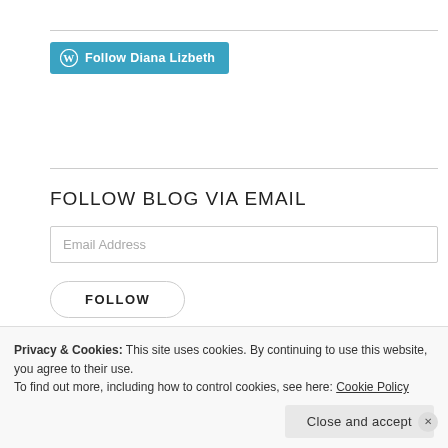[Figure (other): WordPress Follow button — teal button with WordPress logo and text 'Follow Diana Lizbeth']
FOLLOW BLOG VIA EMAIL
Email Address
FOLLOW
CATEGORIES
Privacy & Cookies: This site uses cookies. By continuing to use this website, you agree to their use.
To find out more, including how to control cookies, see here: Cookie Policy
Close and accept